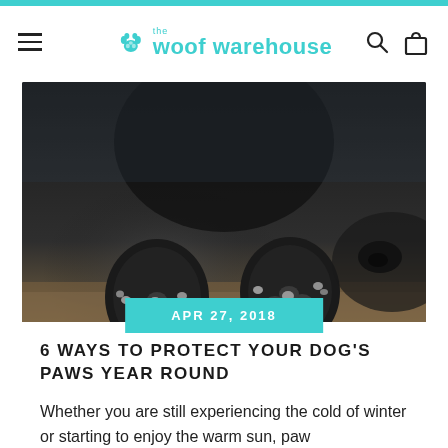the woof warehouse
[Figure (photo): Close-up photo of two dark-colored dog paws resting on a surface, viewed from the front. The paws show paw pads and nails.]
APR 27, 2018
6 WAYS TO PROTECT YOUR DOG'S PAWS YEAR ROUND
Whether you are still experiencing the cold of winter or starting to enjoy the warm sun, paw protection is always front of mind.